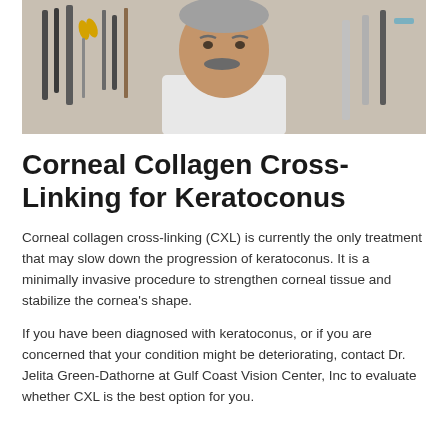[Figure (photo): Portrait photo of a middle-aged man with a mustache and gray hair, wearing a white shirt, standing in front of a pegboard with various tools (scissors, knives, saws) hanging on it.]
Corneal Collagen Cross-Linking for Keratoconus
Corneal collagen cross-linking (CXL) is currently the only treatment that may slow down the progression of keratoconus. It is a minimally invasive procedure to strengthen corneal tissue and stabilize the cornea's shape.
If you have been diagnosed with keratoconus, or if you are concerned that your condition might be deteriorating, contact Dr. Jelita Green-Dathorne at Gulf Coast Vision Center, Inc to evaluate whether CXL is the best option for you.